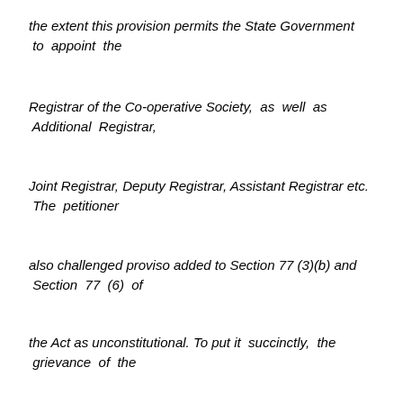the extent this provision permits the State Government to appoint the
Registrar of the Co-operative Society, as well as Additional Registrar,
Joint Registrar, Deputy Registrar, Assistant Registrar etc. The petitioner
also challenged proviso added to Section 77 (3)(b) and Section 77 (6) of
the Act as unconstitutional. To put it succinctly, the grievance of the
petitioner was that these provisions provide for appointment of persons not
being members or retiring members, thereby discipling the